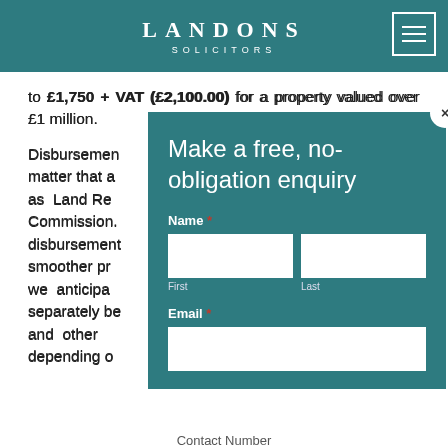LANDONS SOLICITORS
to £1,750 + VAT (£2,100.00) for a property valued over £1 million.
Disbursements are costs related to your matter that are payable to third parties, such as Land Registry fees, Stamp Duty Land Commission. We handle the payment of these disbursements on your behalf to ensure a smoother process. There are certain disbursements we anticipate will be required and will be billed separately. Searches, Land Registry fees and other disbursements that will apply depending on your circumstances may also...
[Figure (screenshot): Modal popup with teal background containing 'Make a free, no-obligation enquiry' heading and a contact form with Name (First, Last) and Email fields, with a close (x) button in the top right corner.]
Contact Number